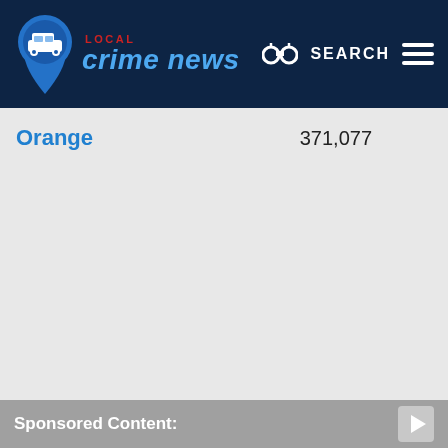LOCAL Crime News — SEARCH
Orange  371,077
Sponsored Content: